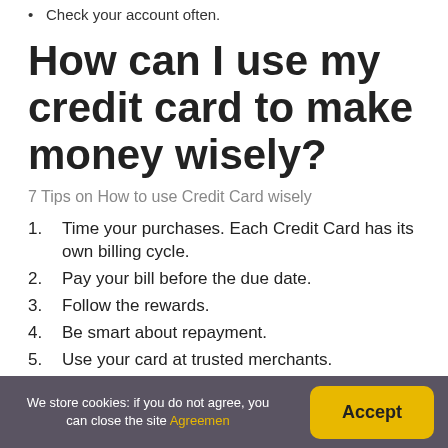Check your account often.
How can I use my credit card to make money wisely?
7 Tips on How to use Credit Card wisely
Time your purchases. Each Credit Card has its own billing cycle.
Pay your bill before the due date.
Follow the rewards.
Be smart about repayment.
Use your card at trusted merchants.
We store cookies: if you do not agree, you can close the site Agreemen | Accept